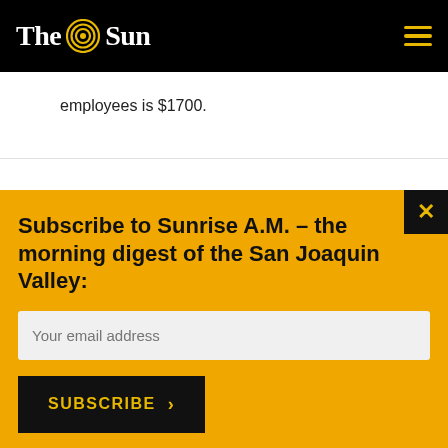The Sun
employees is $1700.
Subscribe to Sunrise A.M. – the morning digest of the San Joaquin Valley:
Your email address
SUBSCRIBE >